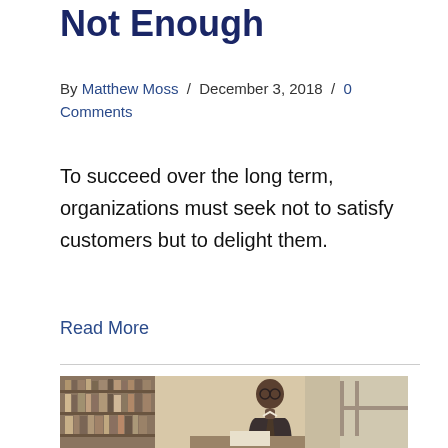Not Enough
By Matthew Moss / December 3, 2018 / 0 Comments
To succeed over the long term, organizations must seek not to satisfy customers but to delight them.
Read More
[Figure (photo): Black and white photograph of a man in glasses sitting at a desk writing, with bookshelves visible in the background]